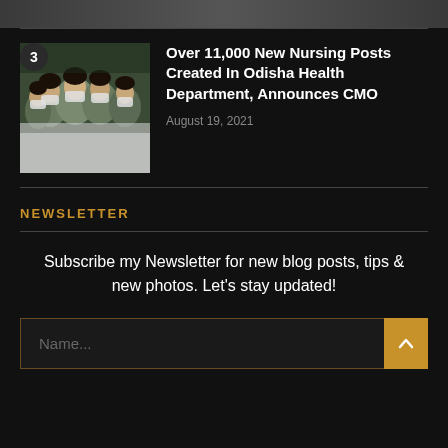[Figure (photo): Partial top strip of a photo (cut off at top of page)]
[Figure (photo): Group of nurses in white uniforms and face masks]
Over 11,000 New Nursing Posts Created In Odisha Health Department, Announces CMO
August 19, 2021
NEWSLETTER
Subscribe my Newsletter for new blog posts, tips & new photos. Let's stay updated!
Name...